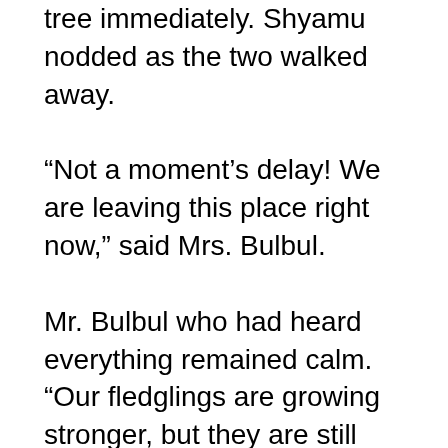tree immediately. Shyamu nodded as the two walked away.
“Not a moment’s delay! We are leaving this place right now,” said Mrs. Bulbul.
Mr. Bulbul who had heard everything remained calm. “Our fledglings are growing stronger, but they are still small. I’ll tell you when to leave this place.”
Another week passed. Nothing happened. The fledglings had now grown wings and were learning how to fly. Once again, Sher Singh arrived near the tree. This time he was alone. He was surprised to